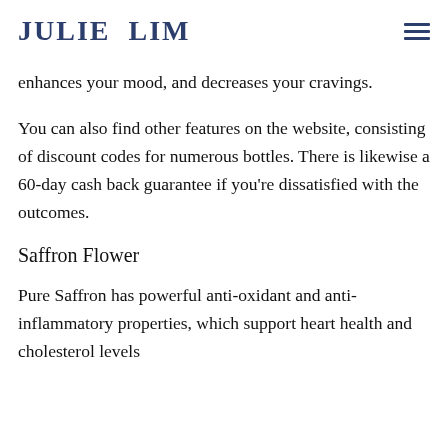JULIE LIM
enhances your mood, and decreases your cravings.
You can also find other features on the website, consisting of discount codes for numerous bottles. There is likewise a 60-day cash back guarantee if you’re dissatisfied with the outcomes.
Saffron Flower
Pure Saffron has powerful anti-oxidant and anti-inflammatory properties, which support heart health and cholesterol levels